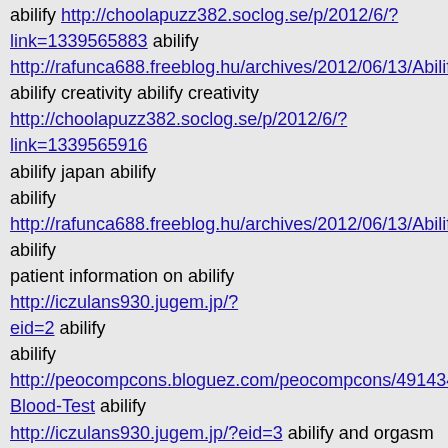abilify http://choolapuzz382.soclog.se/p/2012/6/?link=1339565883 abilify http://rafunca688.freeblog.hu/archives/2012/06/13/Abilify_Cre abilify creativity abilify creativity http://choolapuzz382.soclog.se/p/2012/6/?link=1339565916 abilify japan abilify abilify http://rafunca688.freeblog.hu/archives/2012/06/13/Abilify_Ca abilify patient information on abilify http://iczulans930.jugem.jp/?eid=2 abilify abilify http://peocompcons.bloguez.com/peocompcons/4914346/Abil-Blood-Test abilify http://iczulans930.jugem.jp/?eid=3 abilify and orgasm abilify and orgasm http://choolapuzz382.soclog.se/p/2012/6/?link=1339565968 abilify sweating abilify sweating http://rafunca688.freeblog.hu/archives/2012/06/13/Abilify_Str abilify street use abilify street use
103 ◇NY◇2012/06/13(水) 19:26:57 ID:qyktgIns abilify http://peocompcons.bloguez.com/peocompcons/4914520/What-Is-Abilify-Given-For abilify